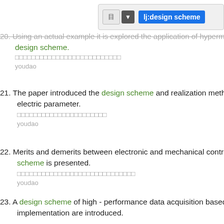[Figure (screenshot): Toolbar/search UI element with button, dropdown arrow, and highlighted search term 'lj:design scheme' in blue]
20. Using an actual example it is explored the application of hypermedia design scheme.
[Chinese translation]
youdao
21. The paper introduced the design scheme and realization method which electric parameter.
[Chinese translation]
youdao
22. Merits and demerits between electronic and mechanical controllers and scheme is presented.
[Chinese translation]
youdao
23. A design scheme of high - performance data acquisition based on US implementation are introduced.